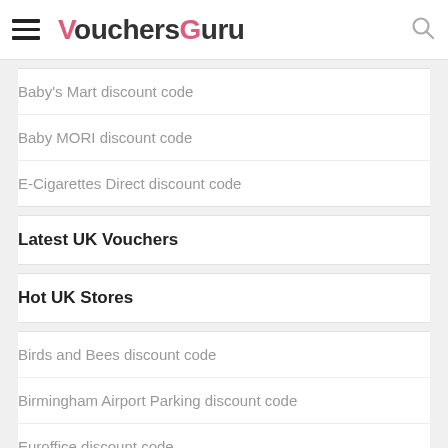VouchersGuru
Baby's Mart discount code
Baby MORI discount code
E-Cigarettes Direct discount code
Latest UK Vouchers
Hot UK Stores
Birds and Bees discount code
Birmingham Airport Parking discount code
Euroffice discount code
Ernest Jones discount code
Go Outdoors discount code
Flying Flowers discount code